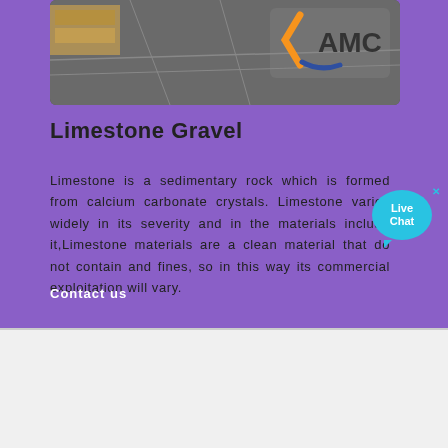[Figure (photo): Warehouse/industrial floor photo with AMC logo in corner]
Limestone Gravel
Limestone is a sedimentary rock which is formed from calcium carbonate crystals. Limestone varies widely in its severity and in the materials included it,Limestone materials are a clean material that do not contain and fines, so in this way its commercial exploitation will vary.
Contact us
[Figure (photo): Industrial machinery/equipment photo at bottom of page]
[Figure (other): Live Chat bubble widget in cyan]
[Figure (illustration): Home/house icon in red and brown]